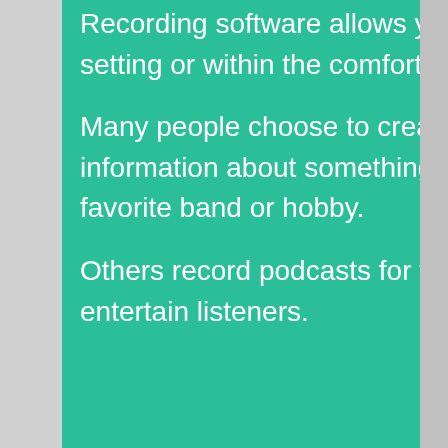Recording software allows you to record your own podcast in a studio-like setting or within the comfort of your own home.
Many people choose to create their own podcasts in order to spread information about something they are passionate about, such as their favorite band or hobby.
Others record podcasts for fun, using their talents of singing or rapping to entertain listeners.